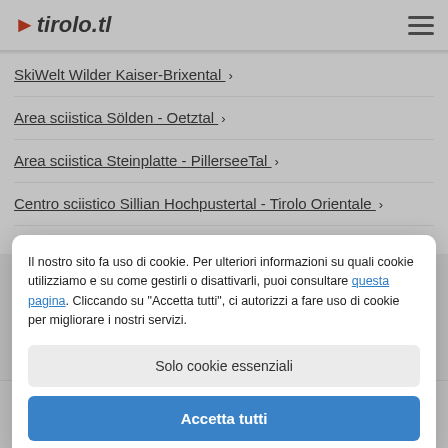►tirolo.tl
SkiWelt Wilder Kaiser-Brixental ›
Area sciistica Sölden - Oetztal ›
Area sciistica Steinplatte - PillerseeTal ›
Centro sciistico Sillian Hochpustertal - Tirolo Orientale ›
Il nostro sito fa uso di cookie. Per ulteriori informazioni su quali cookie utilizziamo e su come gestirli o disattivarli, puoi consultare questa pagina. Cliccando su "Accetta tutti", ci autorizzi a fare uso di cookie per migliorare i nostri servizi.
Solo cookie essenziali
Accetta tutti
Ski Arlberg ›
Estate in Tirolo
Idee vacanza per giugno, luglio e agosto